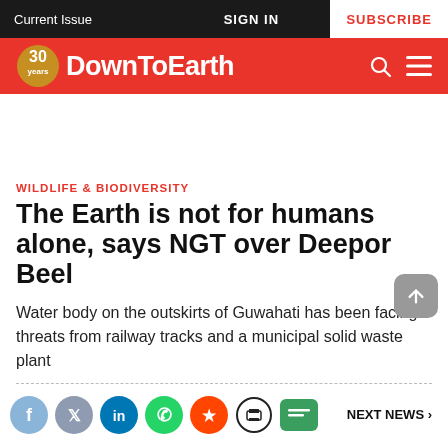Current Issue | SIGN IN | SUBSCRIBE
30 years DownToEarth
WILDLIFE & BIODIVERSITY
The Earth is not for humans alone, says NGT over Deepor Beel
Water body on the outskirts of Guwahati has been facing threats from railway tracks and a municipal solid waste plant